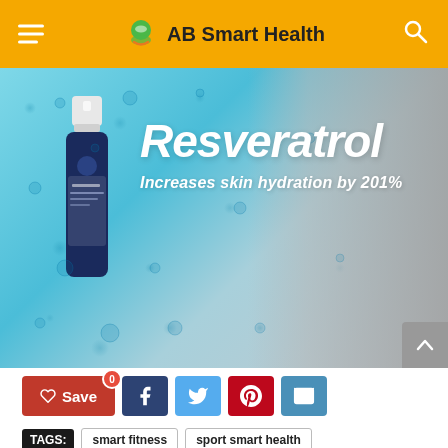AB Smart Health
[Figure (photo): Resveratrol skincare product advertisement showing a blue bottle labeled 'Renuo' on a water-splashed background with water droplets, alongside a close-up grayscale portrait of a woman's face. Text overlay reads 'Resveratrol Increases skin hydration by 201%'.]
Save 0 [social share buttons: Facebook, Twitter, Pinterest, Email]
TAGS: smart fitness | sport smart health | sport smart watch